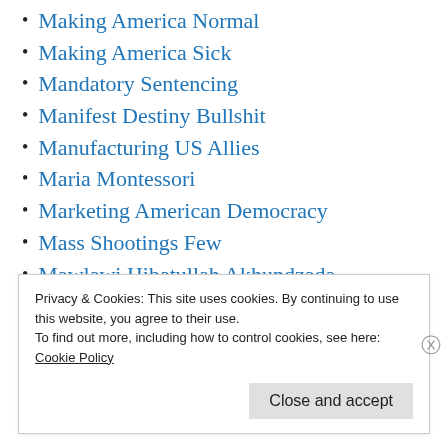Making America Normal
Making America Sick
Mandatory Sentencing
Manifest Destiny Bullshit
Manufacturing US Allies
Maria Montessori
Marketing American Democracy
Mass Shootings Few
Mawlawi Hibatullah Akhundzada
Mencken on the President
Mencken Predicts Future
Privacy & Cookies: This site uses cookies. By continuing to use this website, you agree to their use.
To find out more, including how to control cookies, see here:
Cookie Policy
Close and accept